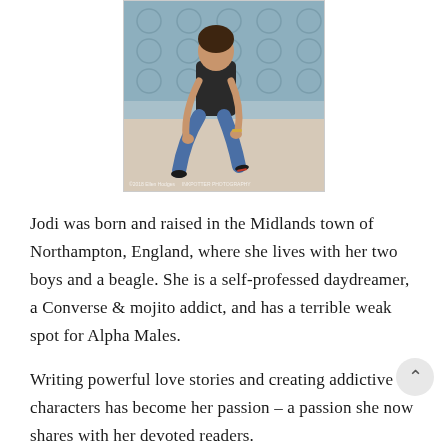[Figure (photo): A woman sitting on a tufted blue-grey sofa, wearing ripped jeans, a black top, and high heels, leaning forward with her hands near her ankles. The image has a watermark at the bottom.]
Jodi was born and raised in the Midlands town of Northampton, England, where she lives with her two boys and a beagle. She is a self-professed daydreamer, a Converse & mojito addict, and has a terrible weak spot for Alpha Males.
Writing powerful love stories and creating addictive characters has become her passion – a passion she now shares with her devoted readers.